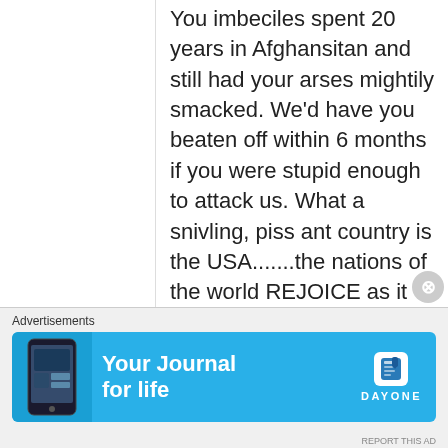You imbeciles spent 20 years in Afghansitan and still had your arses mightily smacked. We'd have you beaten off within 6 months if you were stupid enough to attack us. What a snivling, piss ant country is the USA.......the nations of the world REJOICE as it implodes from within. What a cancer on the planet the United States has become. Lo and Behold......the real
Advertisements
[Figure (other): Advertisement banner for Day One app - Your Journal for life, shown in blue with phone graphic and Day One logo]